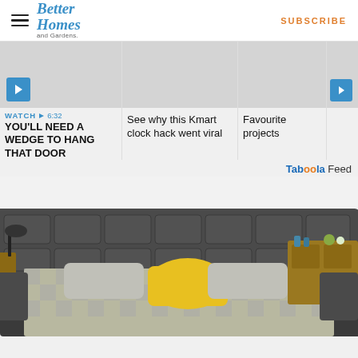Better Homes and Gardens | SUBSCRIBE
[Figure (screenshot): Three video/article preview cards in a horizontal row. Card 1: gray thumbnail with blue play button, WATCH 6:32, YOU'LL NEED A WEDGE TO HANG THAT DOOR. Card 2: gray thumbnail, See why this Kmart clock hack went viral. Card 3: gray thumbnail, Favourite projects. Card 4 (partial): partially visible.]
Taboola Feed
[Figure (photo): A modern smart bed with dark gray upholstered headboard and sides, built-in speakers, reading lamp, side shelves with decorative items, and a checkered bedspread with a yellow throw pillow.]